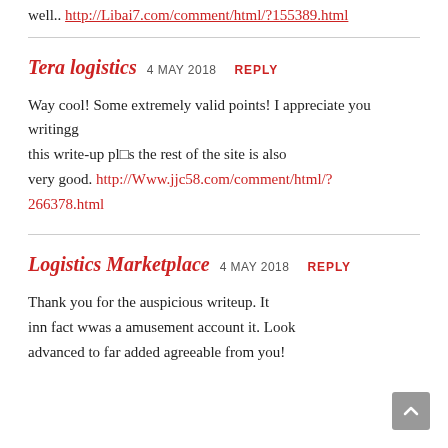well.. http://Libai7.com/comment/html/?155389.html
Tera logistics 4 MAY 2018 REPLY
Way cool! Some extremely valid points! I appreciate you writingg this write-up plus the rest of the site is also very good. http://Www.jjc58.com/comment/html/?266378.html
Logistics Marketplace 4 MAY 2018 REPLY
Thank you for the auspicious writeup. It inn fact wwas a amusement account it. Look advanced to far added agreeable from you!